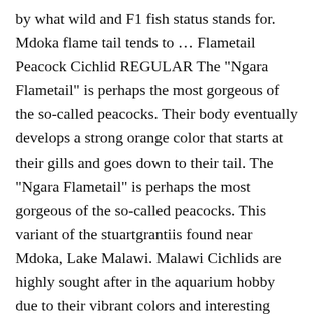by what wild and F1 fish status stands for. Mdoka flame tail tends to … Flametail Peacock Cichlid REGULAR The "Ngara Flametail" is perhaps the most gorgeous of the so-called peacocks. Their body eventually develops a strong orange color that starts at their gills and goes down to their tail. The "Ngara Flametail" is perhaps the most gorgeous of the so-called peacocks. This variant of the stuartgrantiis found near Mdoka, Lake Malawi. Malawi Cichlids are highly sought after in the aquarium hobby due to their vibrant colors and interesting behavior. $14.99. stuartgranti: named in honour of legendary aquarium fish exporter Stuart M. Grant (1937-2007). It's an Aulonocara stuartgranti "Mdoka" Flametail. Pseudotropheus Demasoni - Demason's Cichlid. With different coloring depending on location in Lake Malawi, some of the other popular varieties of this species include the Sunshine Peacock